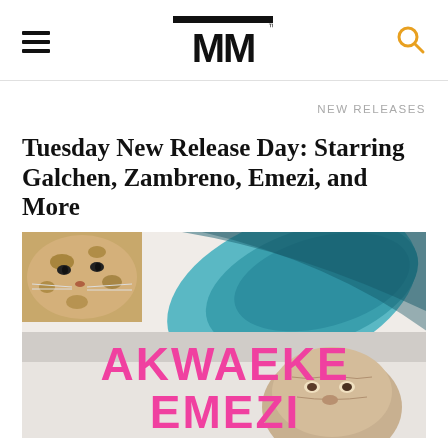MM (Media/literary magazine logo with hamburger menu and search icon)
NEW RELEASES
Tuesday New Release Day: Starring Galchen, Zambreno, Emezi, and More
[Figure (photo): Book cover for Akwaeke Emezi featuring a leopard/tiger in upper left corner, large teal/blue feather or leaf shape, and an older person's face in the lower right. Pink block letters spell AKWAEKE across the middle and EMEZI below.]